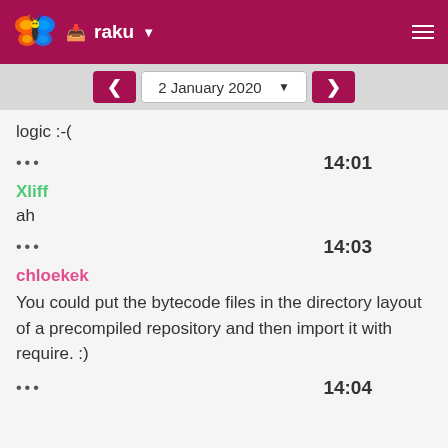raku
2 January 2020
logic :-(
••• 14:01
Xliff
ah
••• 14:03
chloekek
You could put the bytecode files in the directory layout of a precompiled repository and then import it with require. :)
••• 14:04